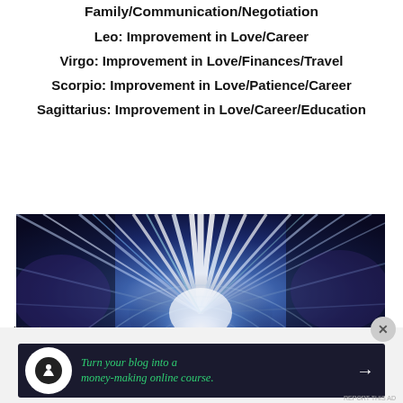Family/Communication/Negotiation
Leo: Improvement in Love/Career
Virgo: Improvement in Love/Finances/Travel
Scorpio: Improvement in Love/Patience/Career
Sagittarius: Improvement in Love/Career/Education
[Figure (illustration): Abstract cosmic light burst with blue, white, and purple rays radiating from center, with concentric arch shapes, on a dark background]
Advertisements
Turn your blog into a money-making online course.